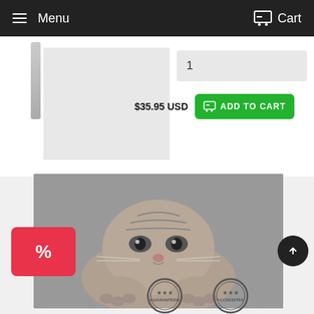Menu  Cart
1
$35.95 USD
ADD TO CART
[Figure (photo): A black and white photo of a Scottish Fold kitten lying flat on a carpet, looking directly at the camera with wide eyes and paws stretched forward.]
[Figure (other): Pink/red discount badge with percent sign icon]
[Figure (other): Scroll to top circular button with upward arrow]
GUARANTEED
ACCREDITED